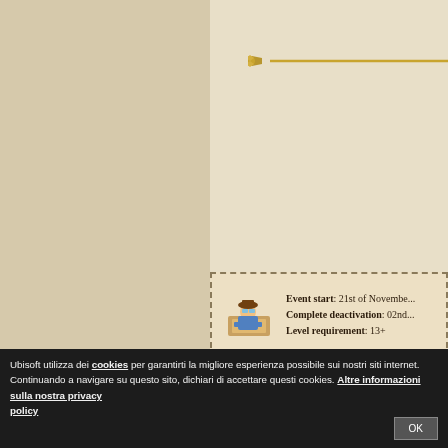[Figure (illustration): Decorative gold horizontal bar/divider with ornate ends, positioned at top right of the content area]
[Figure (illustration): Pixel-art character icon of an explorer/adventurer lying on a treasure map or similar object]
Event start: 21st of November
Complete deactivation: 02nd...
Level requirement: 13+
The mini-event will activate a new category i... during the mini-event, all Explorers and Geol...
Mini-Event Basics
The Harbour
Island Adjustments (more destroyabl...
Adventure: Split City
Ubisoft utilizza dei cookies per garantirti la migliore esperienza possibile sui nostri siti internet. Continuando a navigare su questo sito, dichiari di accettare questi cookies. Altre informazioni sulla nostra privacy policy